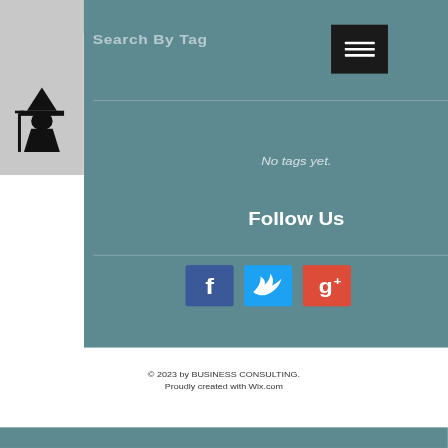Search By Tag
[Figure (logo): Black silhouette illustration of a wizard with a wide-brimmed hat holding a staff, on a light grey background]
[Figure (other): Black hamburger menu button (three horizontal white lines on black square background)]
No tags yet.
Follow Us
[Figure (other): Three social media icons in a row: Facebook (blue, white 'f'), Twitter (light blue, white bird), Google+ (red-orange, white 'g+')]
© 2023 by BUSINESS CONSULTING.
Proudly created with Wix.com